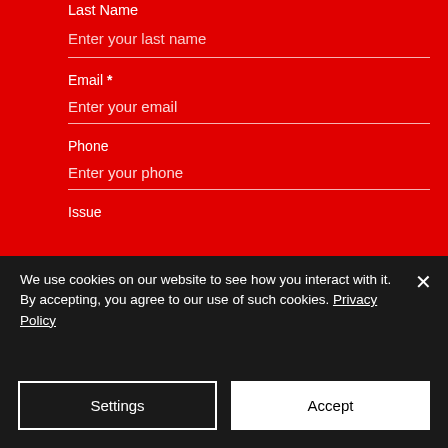Last Name
Enter your last name
Email *
Enter your email
Phone
Enter your phone
Issue
We use cookies on our website to see how you interact with it. By accepting, you agree to our use of such cookies. Privacy Policy
Settings
Accept